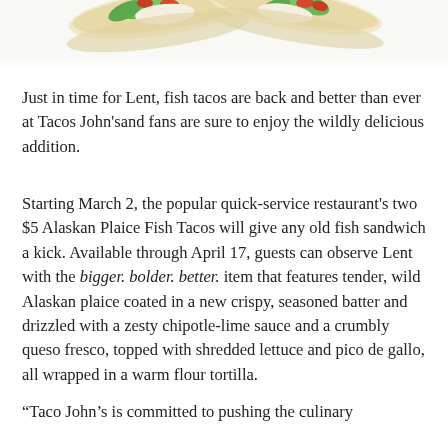[Figure (photo): Partial view of fish tacos in flour tortillas from above, showing lettuce and fillings, cropped at top of page]
Just in time for Lent, fish tacos are back and better than ever at Tacos John'sand fans are sure to enjoy the wildly delicious addition.
Starting March 2, the popular quick-service restaurant's two $5 Alaskan Plaice Fish Tacos will give any old fish sandwich a kick. Available through April 17, guests can observe Lent with the bigger. bolder. better. item that features tender, wild Alaskan plaice coated in a new crispy, seasoned batter and drizzled with a zesty chipotle-lime sauce and a crumbly queso fresco, topped with shredded lettuce and pico de gallo, all wrapped in a warm flour tortilla.
“Taco John’s is committed to pushing the culinary boundaries for their customers, aiming to surprise and delight